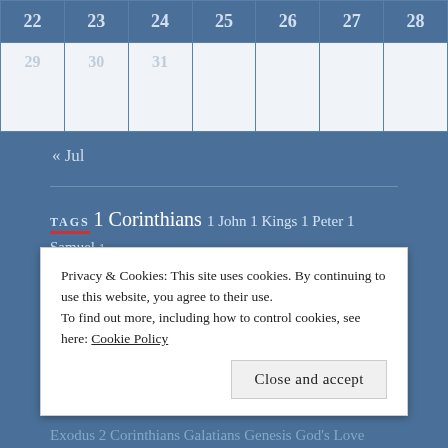| 22 | 23 | 24 | 25 | 26 | 27 | 28 |
| --- | --- | --- | --- | --- | --- | --- |
| 29 | 30 | 31 |  |  |  |  |
« Jul
TAGS 1 Corinthians 1 John 1 Kings 1 Peter 1 Samuel 1 Thessalonians 1 Timothy 2 Chronicles 2 Corinthians 2 Kings 2
Privacy & Cookies: This site uses cookies. By continuing to use this website, you agree to their use. To find out more, including how to control cookies, see here: Cookie Policy
Close and accept
Exodus 2 Corinthians Galatians Genesis God's Love